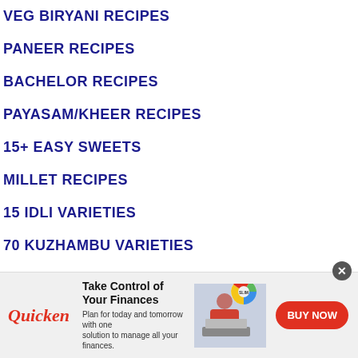VEG BIRYANI RECIPES
PANEER RECIPES
BACHELOR RECIPES
PAYASAM/KHEER RECIPES
15+ EASY SWEETS
MILLET RECIPES
15 IDLI VARIETIES
70 KUZHAMBU VARIETIES
15 THOGAYAL VARIETIES
BROWSE RECIPES BY REGION ▼
ANDHRA
[Figure (infographic): Quicken advertisement banner: Take Control of Your Finances. Plan for today and tomorrow with one solution to manage all your finances. BUY NOW button. Shows a woman working at a laptop with a pie chart graphic. Close button (x) in top right.]